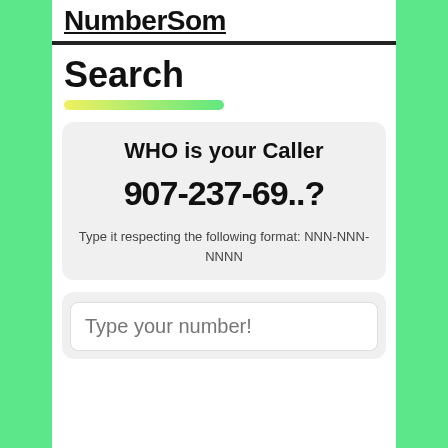NumberSom
Search
[Figure (other): Gradient bar from yellow to green]
WHO is your Caller
907-237-69..?
Type it respecting the following format: NNN-NNN-NNNN
[Figure (screenshot): Input field with placeholder text: Type your number!]